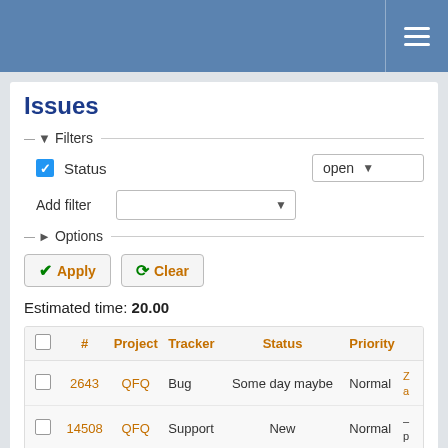Issues tracker header with hamburger menu
Issues
Filters (collapsed section with Status filter set to open)
Status: open
Add filter
Options (collapsed)
Apply | Clear
Estimated time: 20.00
|  | # | Project | Tracker | Status | Priority |  |
| --- | --- | --- | --- | --- | --- | --- |
|  | 2643 | QFQ | Bug | Some day maybe | Normal | … |
|  | 14508 | QFQ | Support | New | Normal | … |
|  | 4343 | QFQ | Feature | Some day maybe | Normal | … |